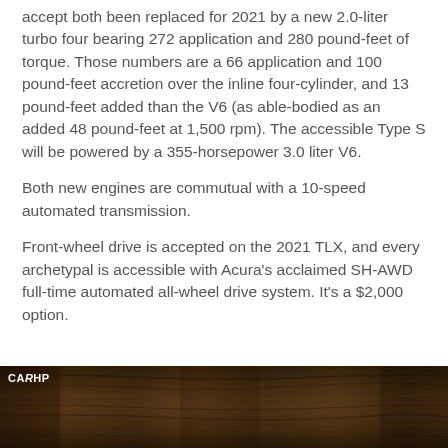accept both been replaced for 2021 by a new 2.0-liter turbo four bearing 272 application and 280 pound-feet of torque. Those numbers are a 66 application and 100 pound-feet accretion over the inline four-cylinder, and 13 pound-feet added than the V6 (as able-bodied as an added 48 pound-feet at 1,500 rpm). The accessible Type S will be powered by a 355-horsepower 3.0 liter V6.
Both new engines are commutual with a 10-speed automated transmission.
Front-wheel drive is accepted on the 2021 TLX, and every archetypal is accessible with Acura's acclaimed SH-AWD full-time automated all-wheel drive system. It's a $2,000 option.
[Figure (photo): Dark brown wood grain texture image with CARHP watermark in upper left corner]